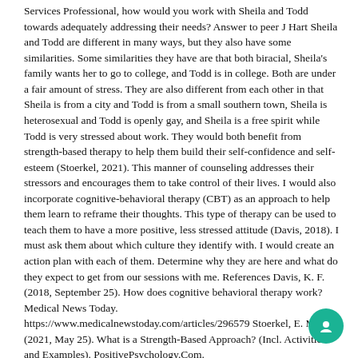Services Professional, how would you work with Sheila and Todd towards adequately addressing their needs? Answer to peer J Hart Sheila and Todd are different in many ways, but they also have some similarities. Some similarities they have are that both biracial, Sheila's family wants her to go to college, and Todd is in college. Both are under a fair amount of stress. They are also different from each other in that Sheila is from a city and Todd is from a small southern town, Sheila is heterosexual and Todd is openly gay, and Sheila is a free spirit while Todd is very stressed about work. They would both benefit from strength-based therapy to help them build their self-confidence and self-esteem (Stoerkel, 2021). This manner of counseling addresses their stressors and encourages them to take control of their lives. I would also incorporate cognitive-behavioral therapy (CBT) as an approach to help them learn to reframe their thoughts. This type of therapy can be used to teach them to have a more positive, less stressed attitude (Davis, 2018). I must ask them about which culture they identify with. I would create an action plan with each of them. Determine why they are here and what do they expect to get from our sessions with me. References Davis, K. F. (2018, September 25). How does cognitive behavioral therapy work? Medical News Today. https://www.medicalnewstoday.com/articles/296579 Stoerkel, E. M. (2021, May 25). What is a Strength-Based Approach? (Incl. Activities and Examples). PositivePsychology.Com. https://positivepsychology.com/strengths-based-interventions/ M5 Disc – Practical Therapeutic Alliance Directions: An intake can be awkward because the client is meeting someone for the first time and is expected to open up every little crack and crevice of their life. How can helpers develop a therapeutic alliance while conducting an intake? I already did the discussion I will need you to answer a peer Here's mine Evidence-based attitudes and behaviors including empathic understanding and positive regard to clients are vital in creating a